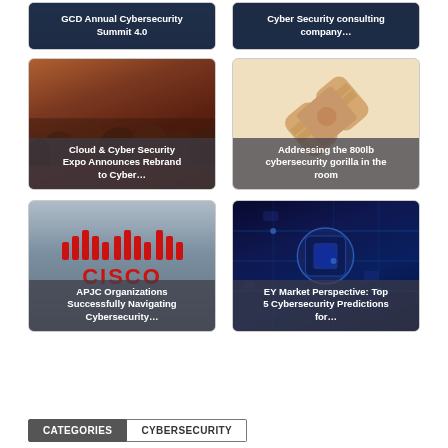[Figure (photo): GCD Annual Cybersecurity Summit 4.0 – dark blue card with text overlay]
[Figure (photo): Cyber Security consulting company – dark blue card with text overlay]
[Figure (photo): Cloud & Cyber Security Expo Announces Rebrand to Cyber... – crowd image with text overlay]
[Figure (photo): Addressing the 800lb cybersecurity gorilla in the room – band-aid cross image with text overlay]
[Figure (logo): APJC Organizations Successfully Navigating Cybersecurity... – Cisco logo on grey building]
[Figure (photo): EY Market Perspective: Top 5 Cybersecurity Predictions for... – circuit board image with text overlay]
CATEGORIES  CYBERSECURITY